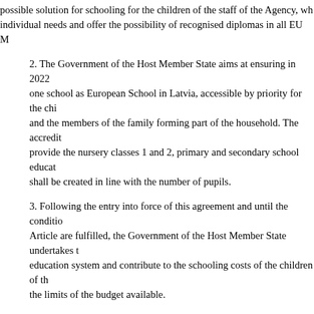possible solution for schooling for the children of the staff of the Agency, wh individual needs and offer the possibility of recognised diplomas in all EU M
2. The Government of the Host Member State aims at ensuring in 2022 one school as European School in Latvia, accessible by priority for the chi and the members of the family forming part of the household. The accredit provide the nursery classes 1 and 2, primary and secondary school educat shall be created in line with the number of pupils.
3. Following the entry into force of this agreement and until the conditio Article are fulfilled, the Government of the Host Member State undertakes t education system and contribute to the schooling costs of the children of th the limits of the budget available.
4. The Government of the Host Member State undertakes to facilitate a education and care for the children of the staff of the Agency until they reac be enrolled in the nursery class at the Accredited European School.
5. Specific arrangements to implement this article will be included in the
Article 22
Data Protection
The data protection legislation of the Host State shall not be applicable Agency, in particular for the purpose of its operations, internal administratio